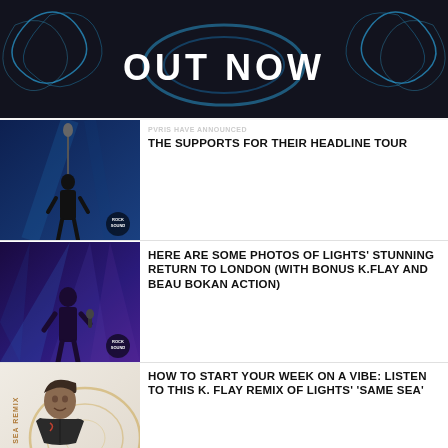[Figure (photo): Out Now banner with blue glowing wings and bold white text 'OUT NOW' on dark background]
[Figure (photo): Concert photo of a silhouetted singer at a microphone, blue lighting, Rock Sound watermark]
PVRIS HAVE ANNOUNCED THE SUPPORTS FOR THEIR HEADLINE TOUR
[Figure (photo): Concert photo of Lights performing on stage with colorful stage lighting, Rock Sound watermark]
HERE ARE SOME PHOTOS OF LIGHTS' STUNNING RETURN TO LONDON (WITH BONUS K.FLAY AND BEAU BOKAN ACTION)
[Figure (photo): Promo photo of K. Flay with Same Sea Remix artwork branding in background]
HOW TO START YOUR WEEK ON A VIBE: LISTEN TO THIS K. FLAY REMIX OF LIGHTS' 'SAME SEA'